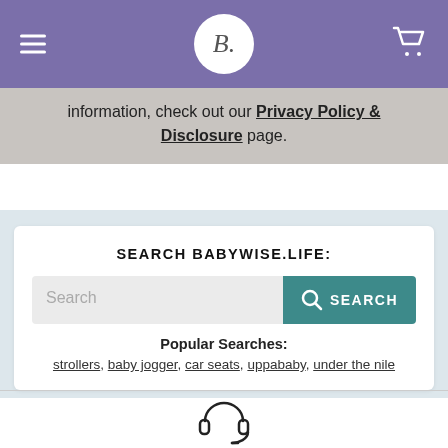B. (logo) — babywise.life header with hamburger menu and cart icon
information, check out our Privacy Policy & Disclosure page.
SEARCH BABYWISE.LIFE:
Search [input field] SEARCH
Popular Searches:
strollers, baby jogger, car seats, uppababy, under the nile
[Figure (illustration): Headset / headphones with microphone icon]